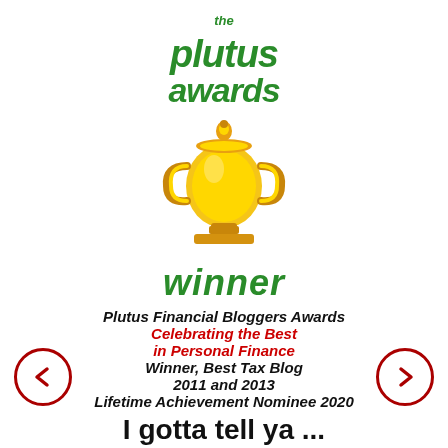[Figure (logo): The Plutus Awards logo in bold green italic text with a golden trophy icon below]
winner
Plutus Financial Bloggers Awards
Celebrating the Best
in Personal Finance
Winner, Best Tax Blog
2011 and 2013
Lifetime Achievement Nominee 2020
[Figure (illustration): Left navigation arrow in dark red circle]
[Figure (illustration): Right navigation arrow in dark red circle]
I gotta tell ya ...